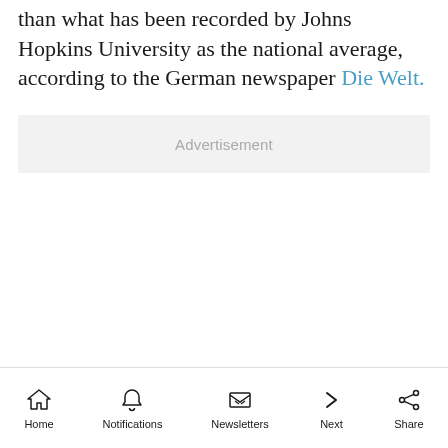than what has been recorded by Johns Hopkins University as the national average, according to the German newspaper Die Welt.
[Figure (other): Advertisement placeholder box]
Home | Notifications | Newsletters | Next | Share